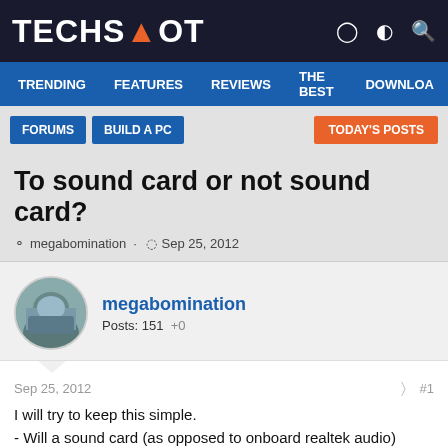TECHSPOT
TRENDING  FEATURES  REVIEWS  THE BEST  DOWNLOA
FORUMS  BUILD A PC  TODAY'S POSTS
To sound card or not sound card?
megabomination · Sep 25, 2012
megabomination
Posts: 151  +0
Sep 25, 2012  #1
I will try to keep this simple.
- Will a sound card (as opposed to onboard realtek audio) "unload" my cpu/ram to any great degree and if so will this be noticable , particularly in games as an increase in F.P.S.?